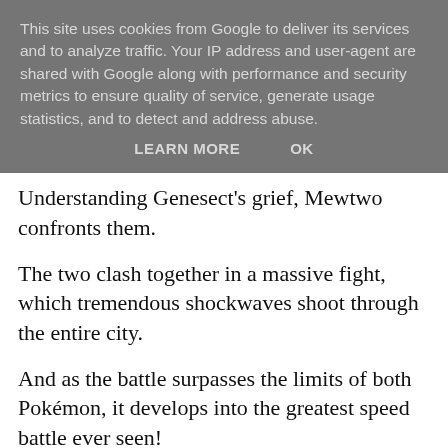This site uses cookies from Google to deliver its services and to analyze traffic. Your IP address and user-agent are shared with Google along with performance and security metrics to ensure quality of service, generate usage statistics, and to detect and address abuse.
LEARN MORE    OK
Understanding Genesect's grief, Mewtwo confronts them.
The two clash together in a massive fight, which tremendous shockwaves shoot through the entire city.
And as the battle surpasses the limits of both Pokémon, it develops into the greatest speed battle ever seen!